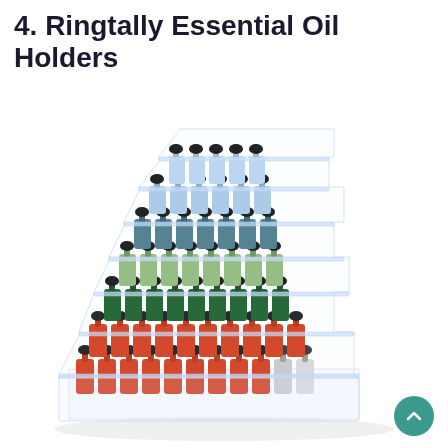4. Ringtally Essential Oil Holders
[Figure (photo): A clear acrylic tiered display stand (7 tiers) filled with nail polish bottles arranged in rows. The bottles have black caps and the colors progress from blue/light blue on the top tier, through teal/dark teal, sage green, dark green, orange-red on the lower tiers. The stand is stepped/staircase shaped and made of transparent acrylic material.]